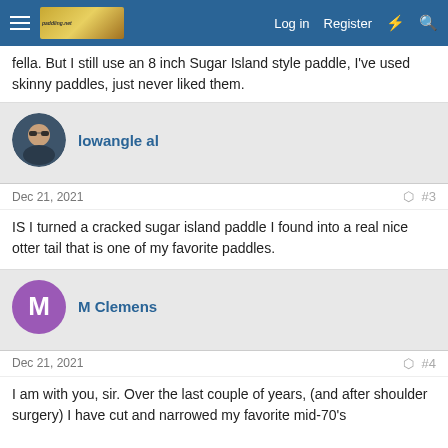Log in  Register
fella. But I still use an 8 inch Sugar Island style paddle, I've used skinny paddles, just never liked them.
lowangle al
Dec 21, 2021  #3
IS I turned a cracked sugar island paddle I found into a real nice otter tail that is one of my favorite paddles.
M Clemens
Dec 21, 2021  #4
I am with you, sir. Over the last couple of years, (and after shoulder surgery) I have cut and narrowed my favorite mid-70's